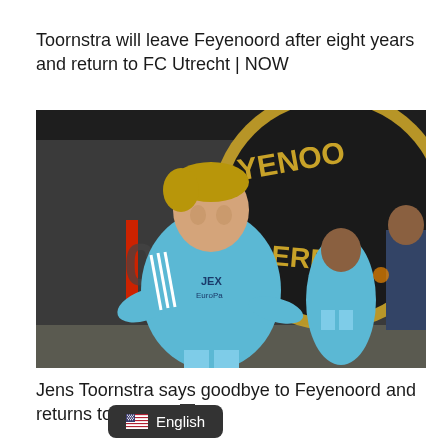Toornstra will leave Feyenoord after eight years and return to FC Utrecht | NOW
[Figure (photo): Jens Toornstra in a light blue Feyenoord training kit walking in front of a Feyenoord team bus with the Feyenoord crest visible in the background]
Jens Toornstra says goodbye to Feyenoord and returns to FC Utre...
English